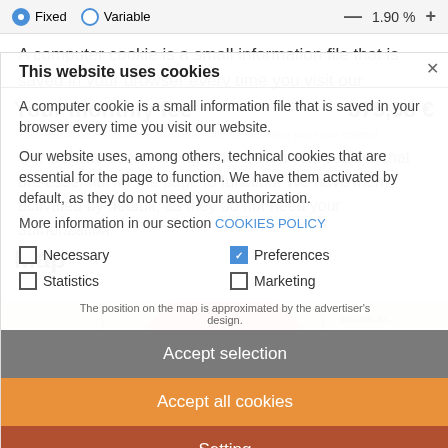Your monthly fee
375,58 €
These results are indicative, calculated with the numbers you have entered.
Map
[Figure (map): Street map showing area with Barriada Juan XXIII, Polígono Río, Acuartelamiento, various streets]
This website uses cookies
A computer cookie is a small information file that is saved in your browser every time you visit our website.
Our website uses, among others, technical cookies that are essential for the page to function. We have them activated by default, as they do not need your authorization.
More information in our section COOKIES POLICY
Necessary
Preferences
Statistics
Marketing
The position on the map is approximated by the advertiser's design.
Accept selection
Accept all cookies
Setting